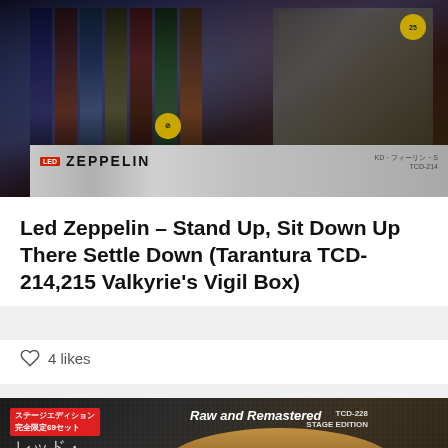[Figure (photo): Photo of Led Zeppelin CD box set spines and cases laid out, showing multiple Japanese edition releases with dark blue/red artwork. A bottom strip shows a white/grey sleeve with LED ZEPPELIN logo text.]
Led Zeppelin – Stand Up, Sit Down Up There Settle Down (Tarantura TCD-214,215 Valkyrie's Vigil Box)
4 likes
[Figure (photo): Photo of Led Zeppelin 'Raw and Remastered' Japanese box set (TCD-228 Stage Edition), showing denim-textured background, a blimp/zeppelin graphic with LED ZEPPELIN text, Japanese text on left side, stage edition label, and an orange coffee cup icon button in lower right.]